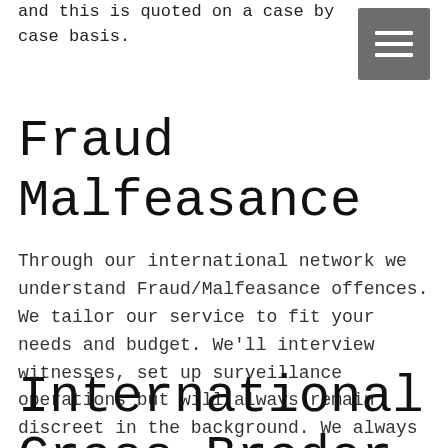and this is quoted on a case by case basis.
[Figure (other): Hamburger menu button icon — three horizontal white lines on a grey square background]
Fraud Malfeasance
Through our international network we understand Fraud/Malfeasance offences. We tailor our service to fit your needs and budget. We'll interview witnesses, set up surveillance operations but will always remain discreet in the background. We always supply clients with a fixed fee quote and a detailed report of our findings.
International Cross-Broder